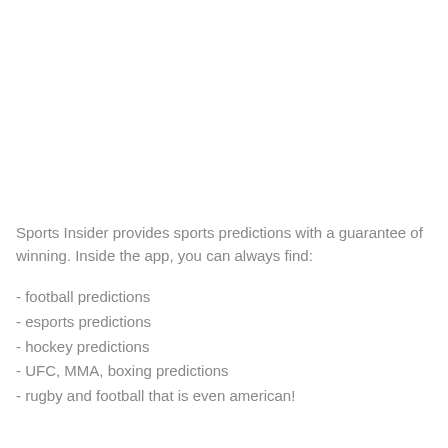Sports Insider provides sports predictions with a guarantee of winning. Inside the app, you can always find:
- football predictions
- esports predictions
- hockey predictions
- UFC, MMA, boxing predictions
- rugby and football that is even american!